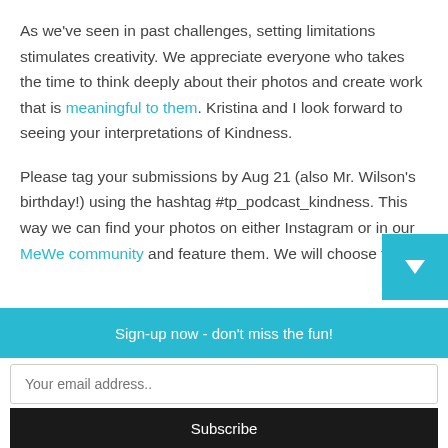As we've seen in past challenges, setting limitations stimulates creativity. We appreciate everyone who takes the time to think deeply about their photos and create work that is meaningful to them. Kristina and I look forward to seeing your interpretations of Kindness.

Please tag your submissions by Aug 21 (also Mr. Wilson's birthday!) using the hashtag #tp_podcast_kindness. This way we can find your photos on either Instagram or in our MeWe community and feature them. We will choose tw...
Sign-up now - don't miss the fun!
Your email address..
Subscribe